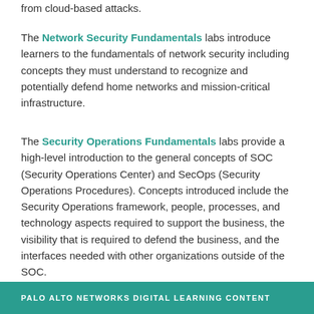from cloud-based attacks.
The Network Security Fundamentals labs introduce learners to the fundamentals of network security including concepts they must understand to recognize and potentially defend home networks and mission-critical infrastructure.
The Security Operations Fundamentals labs provide a high-level introduction to the general concepts of SOC (Security Operations Center) and SecOps (Security Operations Procedures). Concepts introduced include the Security Operations framework, people, processes, and technology aspects required to support the business, the visibility that is required to defend the business, and the interfaces needed with other organizations outside of the SOC.
PALO ALTO NETWORKS DIGITAL LEARNING CONTENT